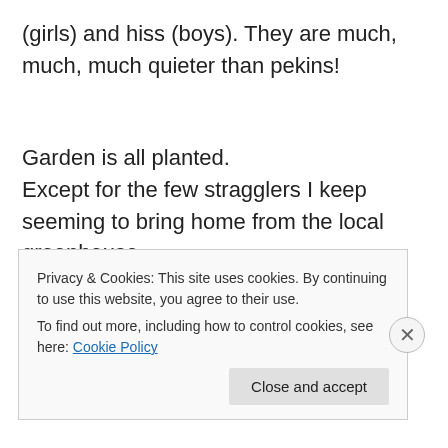(girls) and hiss (boys). They are much, much, much quieter than pekins!
Garden is all planted.
Except for the few stragglers I keep seeming to bring home from the local greenhouse.
Yesterday another 14 tomato plants arrived.
😂😂😂
Privacy & Cookies: This site uses cookies. By continuing to use this website, you agree to their use.
To find out more, including how to control cookies, see here: Cookie Policy
Close and accept